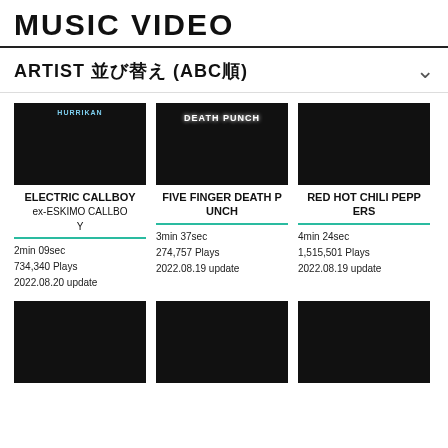MUSIC VIDEO
ARTIST 並び替え (ABC順)
[Figure (photo): Music video thumbnail for Electric Callboy - Hurrikan, showing two people on a boat on blue water with black sky]
ELECTRIC CALLBOY 
ex-ESKIMO CALLBOY
2min 09sec
734,340 Plays
2022.08.20 update
[Figure (photo): Music video thumbnail for Five Finger Death Punch, showing concert stage with crowd and 'DEATH PUNCH' text]
FIVE FINGER DEATH PUNCH
3min 37sec
274,757 Plays
2022.08.19 update
[Figure (photo): Music video thumbnail for Red Hot Chili Peppers, close-up of face with open mouth]
RED HOT CHILI PEPPERS
4min 24sec
1,515,501 Plays
2022.08.19 update
[Figure (photo): Music video thumbnail - person screaming with red lighting]
[Figure (photo): Music video thumbnail - band playing in green/dark lighting]
[Figure (photo): Music video thumbnail - person smiling in teal lighting]